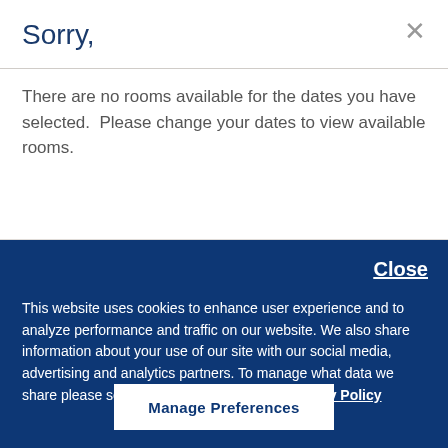Sorry,
There are no rooms available for the dates you have selected.  Please change your dates to view available rooms.
Close
This website uses cookies to enhance user experience and to analyze performance and traffic on our website. We also share information about your use of our site with our social media, advertising and analytics partners. To manage what data we share please select manage preferences. Privacy Policy
Manage Preferences